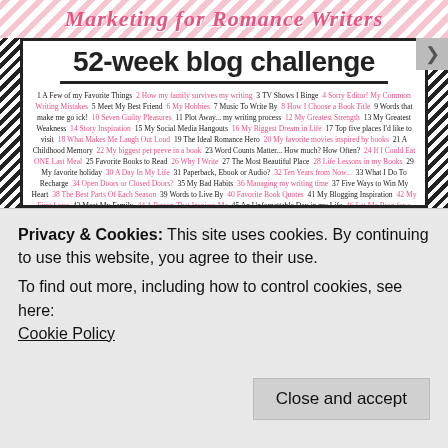Marketing for Romance Writers
52-week blog challenge
1 A Few of my Favorite Things  2 How my family survives my writing  3 TV Shows I Binge  4 Sorry Editor! My Common Writing Mistakes  5 Meet My Best Friend  6 My Hobbies  7 Music To Write By  8 How I Choose a Book Title  9 Words that make me go ick!  10 Seven Guilty Pleasures  11 Plot Away... my writing process  12 My Greatest Strength  13 My Greatest Weakness  14 Story Inspiration  15 My Social Media Hangouts  16 My Biggest Dream in Life  17 Top five places I'd like to visit  18 What Makes Me Laugh Out Loud  19 The Ideal Romance Hero  20 My favorite movies inspired by books  21 A Childhood Memory  22 My biggest pet peeve in a book  23 Word Counts Matter... How much? How Often?  24 If I Could Eat ONE Last Meal  25 Favorite Books to Read  26 Why I Write  27 The Most Beautiful Place  28 Life Lessons in my Books  29 My favorite holiday  30 A Day In My Life  31 Paperback, Ebook or Audio?  32 Ten Years from Now...  33 What I Do To Recharge  34 Open Doors or Closed Doors?  35 My Bad Habits  36 Managing my writing time  37 Five Ways to Win My Heart  38 The Best Parts Of Each Season  39 Words to Live By  40 Favorite Book Quotes  41 My Blogging Inspiration  42 My First Love  43 Meet My Family  44 A Person That Inspires Me  45 An Unforgettable Day in my Life  46 Let Me Brag for a Minute...  47 My Writing Space  48 Five Things on my
Privacy & Cookies: This site uses cookies. By continuing to use this website, you agree to their use. To find out more, including how to control cookies, see here: Cookie Policy
Close and accept